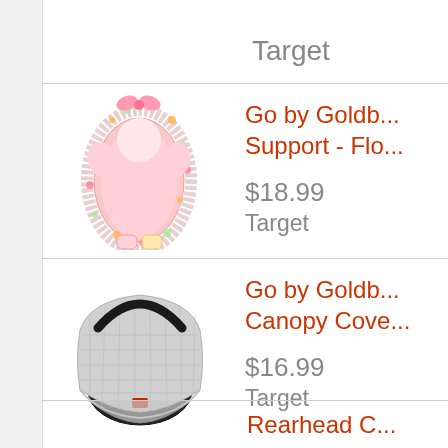Target
Go by Goldbugs Head Support - Flo...
$18.99
Target
[Figure (photo): Floral infant head support cushion, pink and white with flower pattern]
Go by Goldb... Canopy Cove...
$16.99
Target
[Figure (photo): Gray quilted car seat canopy cover on a black car seat]
Rearhead C...